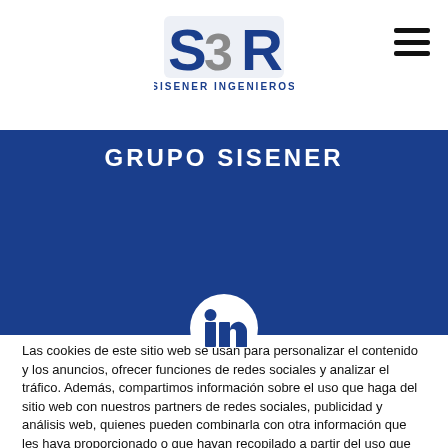[Figure (logo): S3R Sisener Ingenieros logo with stylized S3R letters in blue and grey, and text 'SISENER INGENIEROS' below]
GRUPO SISENER
[Figure (illustration): LinkedIn icon in white on blue background circle, partially visible at bottom of blue band]
Las cookies de este sitio web se usan para personalizar el contenido y los anuncios, ofrecer funciones de redes sociales y analizar el tráfico. Además, compartimos información sobre el uso que haga del sitio web con nuestros partners de redes sociales, publicidad y análisis web, quienes pueden combinarla con otra información que les haya proporcionado o que hayan recopilado a partir del uso que haya hecho de sus servicios.
Información sobre cookies
ACEPTAR
English